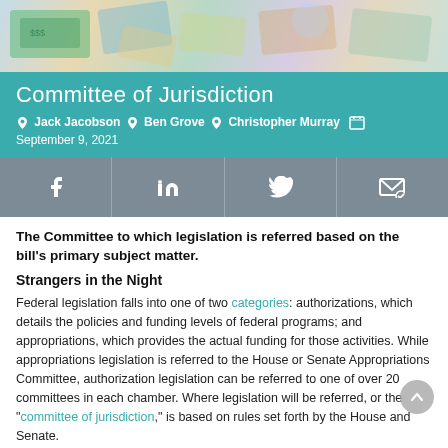[Figure (photo): Banner photo showing money/currency bills in the background]
Committee of Jurisdiction
Jack Jacobson  Ben Grove  Christopher Murray  September 9, 2021
[Figure (infographic): Social media sharing bar with Facebook, LinkedIn, Twitter, and Email icons on a grey background]
The Committee to which legislation is referred based on the bill's primary subject matter.
Strangers in the Night
Federal legislation falls into one of two categories: authorizations, which details the policies and funding levels of federal programs; and appropriations, which provides the actual funding for those activities. While appropriations legislation is referred to the House or Senate Appropriations Committee, authorization legislation can be referred to one of over 20 committees in each chamber. Where legislation will be referred, or the "committee of jurisdiction," is based on rules set forth by the House and Senate.